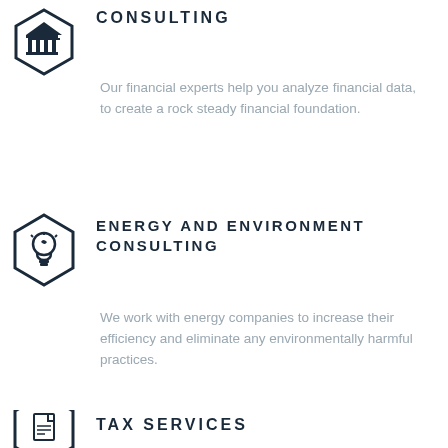[Figure (illustration): Hexagon icon with a classical building/columns symbol inside, dark navy outline]
CONSULTING
Our financial experts help you analyze financial data, to create a rock steady financial foundation.
[Figure (illustration): Hexagon icon with an energy-saving lightbulb symbol inside, dark navy outline]
ENERGY AND ENVIRONMENT CONSULTING
We work with energy companies to increase their efficiency and eliminate any environmentally harmful practices.
[Figure (illustration): Hexagon icon with a document/tax form symbol inside, dark navy outline (partially visible)]
TAX SERVICES